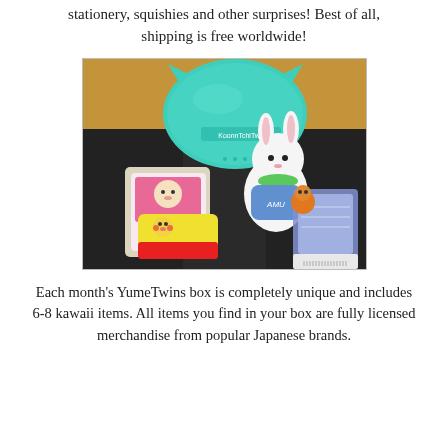stationery, squishies and other surprises! Best of all, shipping is free worldwide!
[Figure (photo): Photo of a YumeTwins kawaii subscription box contents including a teal cat-ear bag, a white plush bunny, a Pikachu-themed item, a bear-themed package, and small collectible figurines/accessories, displayed on a dark surface.]
Each month's YumeTwins box is completely unique and includes 6-8 kawaii items. All items you find in your box are fully licensed merchandise from popular Japanese brands.